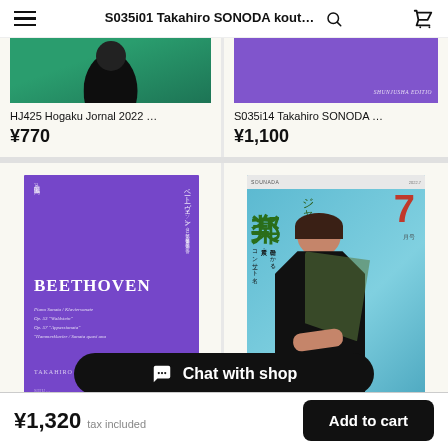S035i01 Takahiro SONODA kout...
[Figure (photo): Partially visible product image - teal/green background with figure for HJ425 Hogaku Jornal 2022]
HJ425 Hogaku Jornal 2022 ...
¥770
[Figure (photo): Partially visible purple book cover for S035i14 Takahiro SONODA with SHUNJUSHA EDITIO text]
S035i14 Takahiro SONODA ...
¥1,100
[Figure (photo): Purple Beethoven book cover with Japanese text and BEETHOVEN title, TAKAHIRO SONODA author]
S035i23 Taka...
¥1,760
[Figure (photo): Magazine cover with Japanese text 邦楽ジャーナル, number 7, woman in black dress on light blue background]
ornal 2022 ...
¥770
Chat with shop
¥1,320 tax included
Add to cart